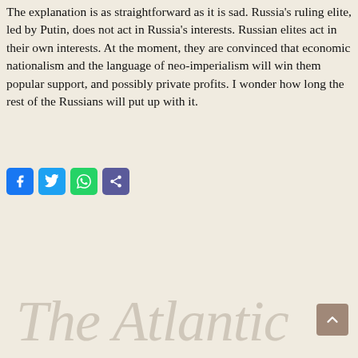The explanation is as straightforward as it is sad. Russia's ruling elite, led by Putin, does not act in Russia's interests. Russian elites act in their own interests. At the moment, they are convinced that economic nationalism and the language of neo-imperialism will win them popular support, and possibly private profits. I wonder how long the rest of the Russians will put up with it.
[Figure (other): Social sharing buttons: Facebook (blue), Twitter (light blue), WhatsApp (green), Share (purple/blue)]
[Figure (logo): The Atlantic watermark text in large italic serif font, faded beige/gray, partially visible at bottom of page]